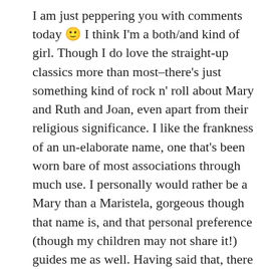I am just peppering you with comments today 🙂 I think I'm a both/and kind of girl. Though I do love the straight-up classics more than most–there's just something kind of rock n' roll about Mary and Ruth and Joan, even apart from their religious significance. I like the frankness of an un-elaborate name, one that's been worn bare of most associations through much use. I personally would rather be a Mary than a Maristela, gorgeous though that name is, and that personal preference (though my children may not share it!) guides me as well. Having said that, there are some very rare names I love as well–Casimir, Melchior, Apollonia. (All with more accessible nicknames, though!